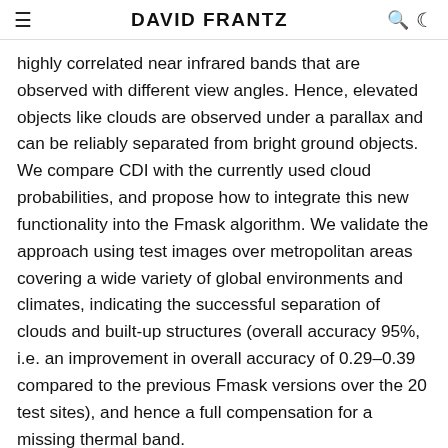DAVID FRANTZ
highly correlated near infrared bands that are observed with different view angles. Hence, elevated objects like clouds are observed under a parallax and can be reliably separated from bright ground objects. We compare CDI with the currently used cloud probabilities, and propose how to integrate this new functionality into the Fmask algorithm. We validate the approach using test images over metropolitan areas covering a wide variety of global environments and climates, indicating the successful separation of clouds and built-up structures (overall accuracy 95%, i.e. an improvement in overall accuracy of 0.29–0.39 compared to the previous Fmask versions over the 20 test sites), and hence a full compensation for a missing thermal band.
Type